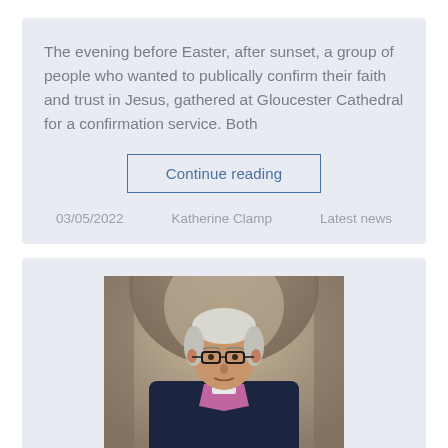The evening before Easter, after sunset, a group of people who wanted to publically confirm their faith and trust in Jesus, gathered at Gloucester Cathedral for a confirmation service. Both
Continue reading
03/05/2022   Katherine Clamp   Latest news
[Figure (photo): Portrait photo of a bishop wearing glasses, black suit jacket, and purple/pink clerical vestments, standing in front of a stone cathedral archway with blurred background.]